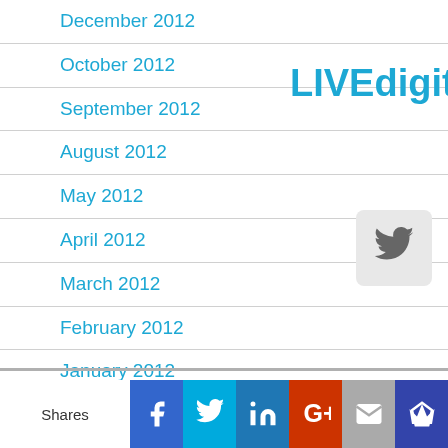December 2012
October 2012
September 2012
August 2012
May 2012
April 2012
March 2012
February 2012
January 2012
December 2011
November 2011
October 2011
September 2011
LIVEdigitally
[Figure (logo): Twitter bird icon button]
[Figure (infographic): Social share bar with Shares label, Facebook, Twitter, LinkedIn, Google+, Email, and Crown icons]